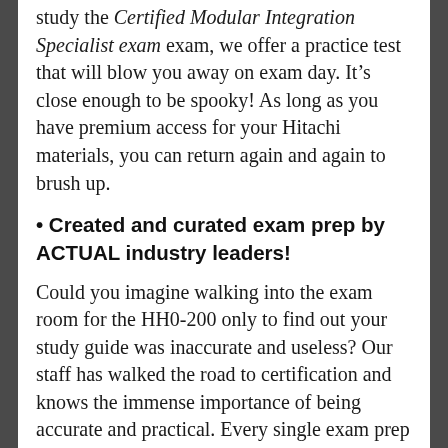study the Certified Modular Integration Specialist exam exam, we offer a practice test that will blow you away on exam day. It’s close enough to be spooky! As long as you have premium access for your Hitachi materials, you can return again and again to brush up.
• Created and curated exam prep by ACTUAL industry leaders!
Could you imagine walking into the exam room for the HH0-200 only to find out your study guide was inaccurate and useless? Our staff has walked the road to certification and knows the immense importance of being accurate and practical. Every single exam prep goes through rigorous testing and regular review. The people who actually work in fields involving Certified Modular Integration Specialist exam material form and create these guides making them